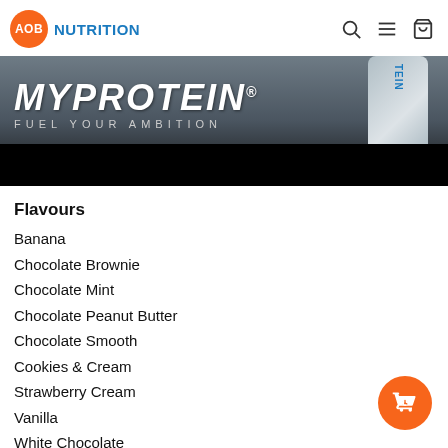AOB NUTRITION
[Figure (photo): Myprotein brand banner with white bold italic text 'MYPROTEIN' and tagline 'FUEL YOUR AMBITION', product bottle visible on right, dark/grey gradient background with black bar at bottom]
Flavours
Banana
Chocolate Brownie
Chocolate Mint
Chocolate Peanut Butter
Chocolate Smooth
Cookies & Cream
Strawberry Cream
Vanilla
White Chocolate